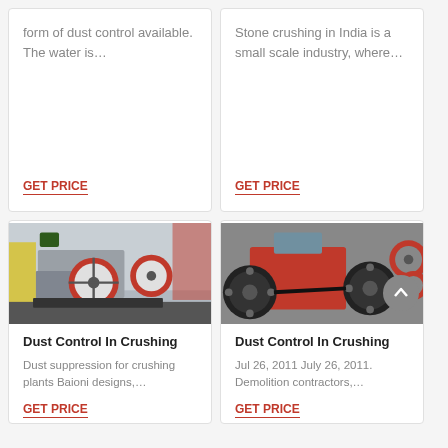form of dust control available. The water is…
GET PRICE
Stone crushing in India is a small scale industry, where…
GET PRICE
[Figure (photo): Industrial crushing machine with large red flywheels in a factory setting]
Dust Control In Crushing
Dust suppression for crushing plants Baioni designs,…
GET PRICE
[Figure (photo): Red jaw crusher machine with black pulleys and belt drive]
Dust Control In Crushing
Jul 26, 2011 July 26, 2011. Demolition contractors,…
GET PRICE